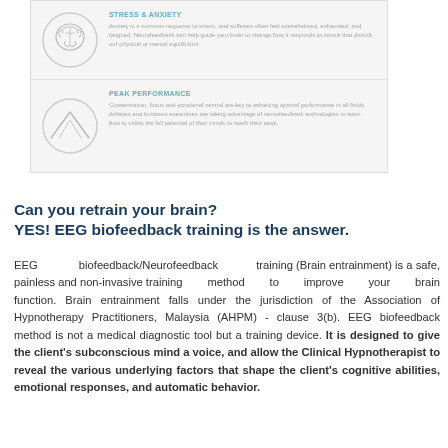[Figure (infographic): Two-section info box on light gray background. Top section: brain icon in circle, heading 'STRESS & ANXIETY', text about anxiety and neurofeedback. Bottom section: mountain/peak icon in circle, heading 'PEAK PERFORMANCE', text about concentration, focus and emotional control.]
Can you retrain your brain?
YES! EEG biofeedback training is the answer.
EEG biofeedback/Neurofeedback training (Brain entrainment) is a safe, painless and non-invasive training method to improve your brain function. Brain entrainment falls under the jurisdiction of the Association of Hypnotherapy Practitioners, Malaysia (AHPM) - clause 3(b). EEG biofeedback method is not a medical diagnostic tool but a training device. It is designed to give the client's subconscious mind a voice, and allow the Clinical Hypnotherapist to reveal the various underlying factors that shape the client's cognitive abilities, emotional responses, and automatic behavior.